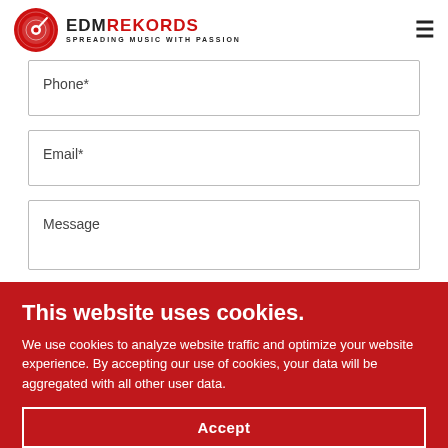EDM REKORDS — SPREADING MUSIC WITH PASSION
Phone*
Email*
Message
This website uses cookies.
We use cookies to analyze website traffic and optimize your website experience. By accepting our use of cookies, your data will be aggregated with all other user data.
Accept